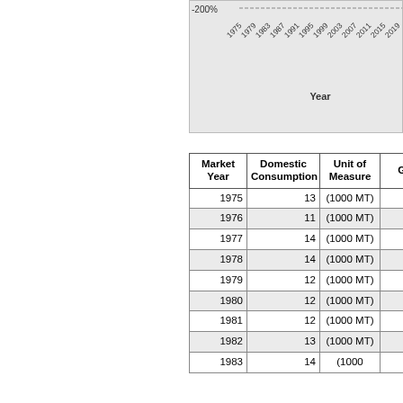[Figure (continuous-plot): Partial chart showing x-axis years from 1975 to 2019 and y-axis label at -200%. The chart is cropped at the top and left edge.]
| Market Year | Domestic Consumption | Unit of Measure | Gr... |
| --- | --- | --- | --- |
| 1975 | 13 | (1000 MT) |  |
| 1976 | 11 | (1000 MT) | -15... |
| 1977 | 14 | (1000 MT) | 27... |
| 1978 | 14 | (1000 MT) | 0... |
| 1979 | 12 | (1000 MT) | -14... |
| 1980 | 12 | (1000 MT) | 0... |
| 1981 | 12 | (1000 MT) | 0... |
| 1982 | 13 | (1000 MT) | 8... |
| 1983 | 14 | (1000 MT) |  |